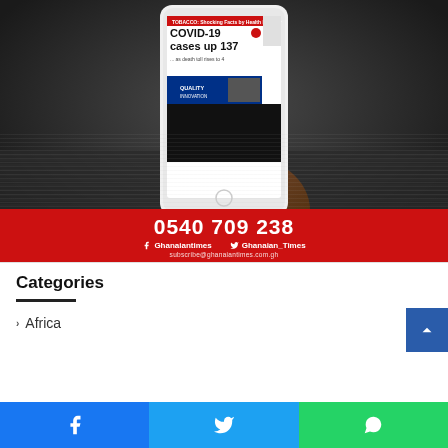[Figure (photo): Advertisement for Ghanaian Times newspaper subscription. A dark-skinned hand holds a white smartphone displaying a COVID-19 news headline ('COVID-19 cases up 137 ... as death toll rises to 4'). The bottom of the image has a red banner with the phone number 0540 709 238, Facebook and Twitter handles (Ghanaiantimes and Ghanaian_Times), and the email subscribe@ghanaiantimes.com.gh.]
Categories
Africa